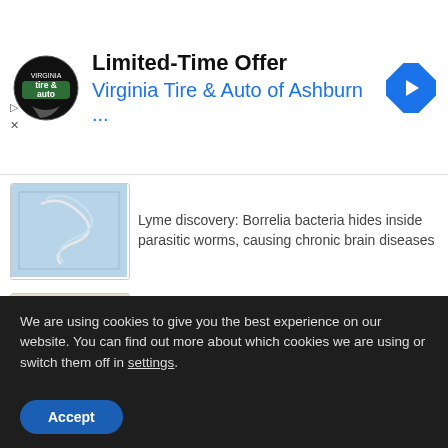[Figure (screenshot): Advertisement banner for Virginia Tire & Auto of Ashburn with logo and blue navigation arrow icon]
[Figure (photo): Microscope image of Borrelia bacteria or worm on blue background]
Lyme discovery: Borrelia bacteria hides inside parasitic worms, causing chronic brain diseases
[Figure (photo): Microscope image of a botfly larva on light background]
A Look at Human Botfly Infestation
[Figure (photo): Microscope image of a curved worm/bacteria on light green background]
Johns Hopkins researchers: Plant compounds may be better than current antibiotics at treating persistent Lyme bacteria
We are using cookies to give you the best experience on our website. You can find out more about which cookies we are using or switch them off in settings.
Accept